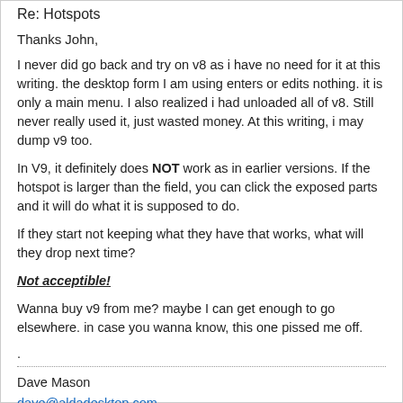Re: Hotspots
Thanks John,
I never did go back and try on v8 as i have no need for it at this writing. the desktop form I am using enters or edits nothing. it is only a main menu. I also realized i had unloaded all of v8. Still never really used it, just wasted money. At this writing, i may dump v9 too.
In V9, it definitely does NOT work as in earlier versions. If the hotspot is larger than the field, you can click the exposed parts and it will do what it is supposed to do.
If they start not keeping what they have that works, what will they drop next time?
Not acceptible!
Wanna buy v9 from me? maybe I can get enough to go elsewhere. in case you wanna know, this one pissed me off.
.
Dave Mason
dave@aldadesktop.com
Skype is dave.mason46